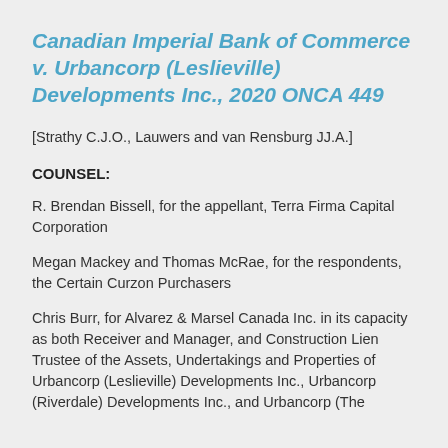Canadian Imperial Bank of Commerce v. Urbancorp (Leslieville) Developments Inc., 2020 ONCA 449
[Strathy C.J.O., Lauwers and van Rensburg JJ.A.]
COUNSEL:
R. Brendan Bissell, for the appellant, Terra Firma Capital Corporation
Megan Mackey and Thomas McRae, for the respondents, the Certain Curzon Purchasers
Chris Burr, for Alvarez & Marsel Canada Inc. in its capacity as both Receiver and Manager, and Construction Lien Trustee of the Assets, Undertakings and Properties of Urbancorp (Leslieville) Developments Inc., Urbancorp (Riverdale) Developments Inc., and Urbancorp (The